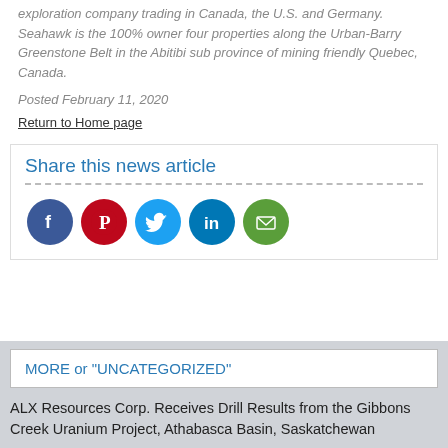exploration company trading in Canada, the U.S. and Germany. Seahawk is the 100% owner four properties along the Urban-Barry Greenstone Belt in the Abitibi sub province of mining friendly Quebec, Canada.
Posted February 11, 2020
Return to Home page
Share this news article
[Figure (infographic): Row of five social media share icons: Facebook (dark blue), Pinterest (red), Twitter (light blue), LinkedIn (blue), Email (green)]
MORE or "UNCATEGORIZED"
ALX Resources Corp. Receives Drill Results from the Gibbons Creek Uranium Project, Athabasca Basin, Saskatchewan